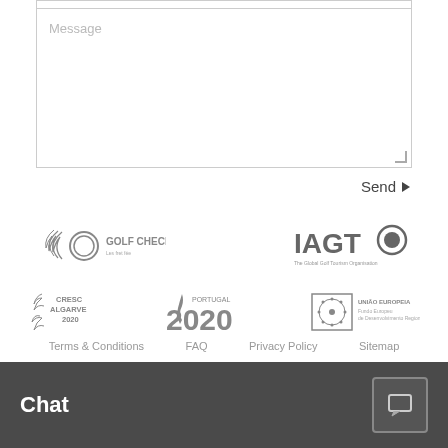[Figure (screenshot): Message input text area with placeholder text 'Message']
Send ▶
[Figure (logo): Golf Check-In logo]
[Figure (logo): IAGTO logo]
[Figure (logo): CRESC Algarve 2020 logo]
[Figure (logo): Portugal 2020 logo]
[Figure (logo): União Europeia - Fundo Europeu de Desenvolvimento Regional logo]
Terms & Conditions   FAQ   Privacy Policy   Sitemap
We use cookies to improve your experience on this website. By continuing to browse our site, you agree to our use of cookies.
Read Policy
Chat